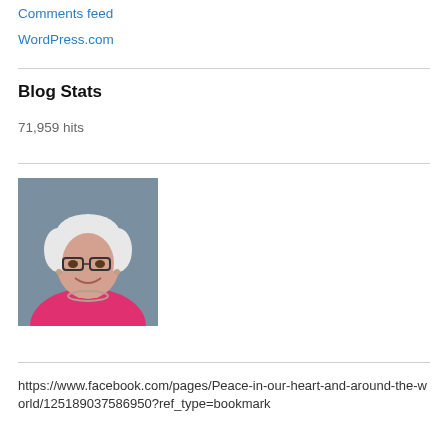Comments feed
WordPress.com
Blog Stats
71,959 hits
[Figure (photo): Headshot of an elderly woman with white hair, glasses, and a pink jacket with a necklace, smiling, against a grey background.]
https://www.facebook.com/pages/Peace-in-our-heart-and-around-the-world/125189037586950?ref_type=bookmark